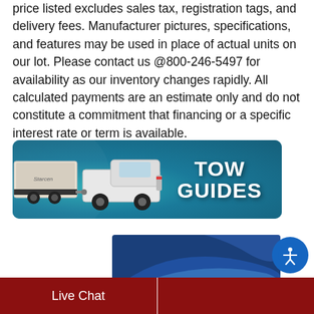price listed excludes sales tax, registration tags, and delivery fees. Manufacturer pictures, specifications, and features may be used in place of actual units on our lot. Please contact us @800-246-5497 for availability as our inventory changes rapidly. All calculated payments are an estimate only and do not constitute a commitment that financing or a specific interest rate or term is available.
[Figure (photo): TOW GUIDES banner showing a white pickup truck towing a travel trailer on a teal/blue textured background with bold white 'TOW GUIDES' text on the right side.]
[Figure (photo): Partial image showing blue and white swooping curves, likely a logo or promotional graphic, partially visible.]
Live Chat